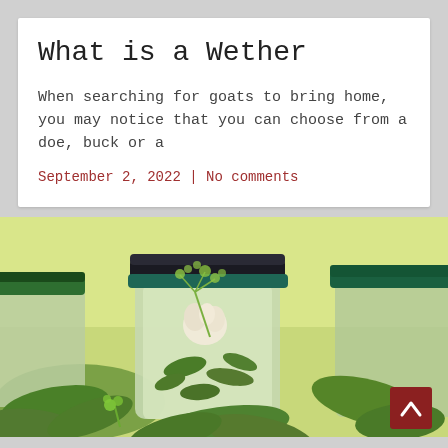What is a Wether
When searching for goats to bring home, you may notice that you can choose from a doe, buck or a
September 2, 2022 | No comments
[Figure (photo): Photo of glass jars filled with pickled cucumbers (gherkins) with dill and garlic, surrounded by fresh cucumbers on a light green background]